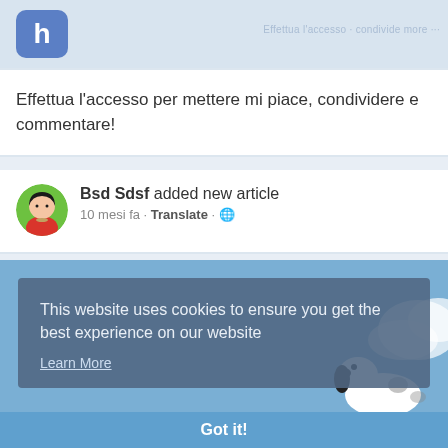[Figure (logo): Blue rounded square logo with white lowercase letter h]
Effettua l'accesso per mettere mi piace, condividere e commentare!
Bsd Sdsf added new article
10 mesi fa - Translate - 🌐
[Figure (illustration): Cookie consent overlay on a light blue background with a Snoopy cartoon character. Text: 'This website uses cookies to ensure you get the best experience on our website' with 'Learn More' link and 'Got it!' button.]